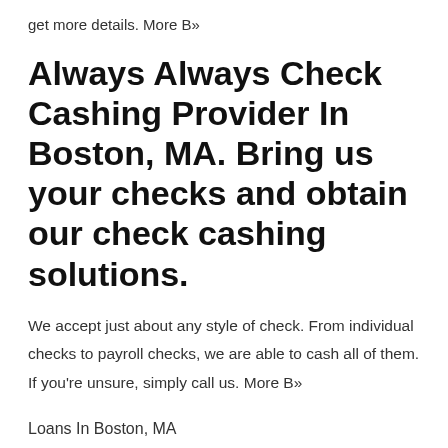get more details. More B»
Always Always Check Cashing Provider In Boston, MA. Bring us your checks and obtain our check cashing solutions.
We accept just about any style of check. From individual checks to payroll checks, we are able to cash all of them. If you're unsure, simply call us. More B»
Loans In Boston, MA
Both you and your company are vital that you us. He